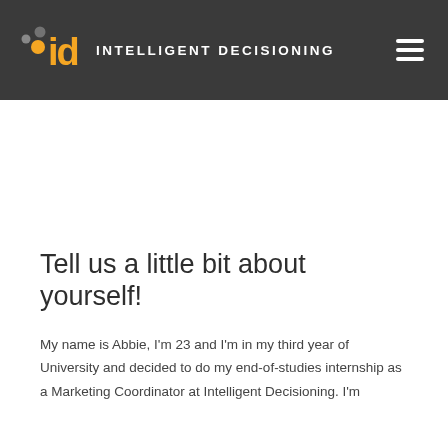[Figure (logo): Intelligent Decisioning logo: orange and grey dots with 'id' text in orange, followed by 'INTELLIGENT DECISIONING' in white caps, on a dark grey navigation bar with a hamburger menu icon on the right]
Tell us a little bit about yourself!
My name is Abbie, I'm 23 and I'm in my third year of University and decided to do my end-of-studies internship as a Marketing Coordinator at Intelligent Decisioning. I'm